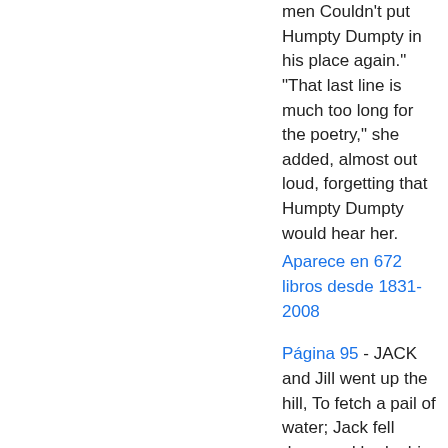men Couldn't put Humpty Dumpty in his place again." "That last line is much too long for the poetry," she added, almost out loud, forgetting that Humpty Dumpty would hear her.
Aparece en 672 libros desde 1831-2008
Página 95 - JACK and Jill went up the hill, To fetch a pail of water; Jack fell down and broke his crown And Jill came tumbling after.
Aparece en 1014 libros desde 1813-2008
Página 13 - TAFFY was a Welshman, Taffy was a thief; Taffy came to my